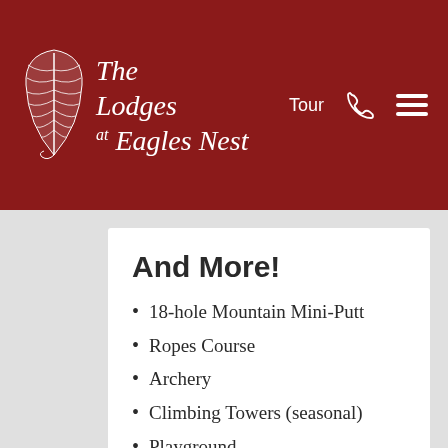The Lodges at Eagles Nest — Tour
And More!
18-hole Mountain Mini-Putt
Ropes Course
Archery
Climbing Towers (seasonal)
Playground
Horseshoes
Corn Hole
Hiking Trail Access